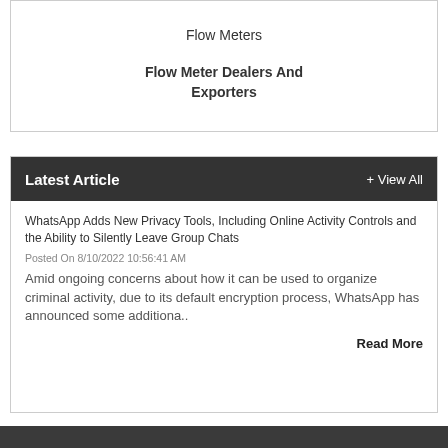Flow Meters
Flow Meter Dealers And Exporters
Latest Article
+ View All
WhatsApp Adds New Privacy Tools, Including Online Activity Controls and the Ability to Silently Leave Group Chats
Posted On 8/10/2022 10:56:41 AM
Amid ongoing concerns about how it can be used to organize criminal activity, due to its default encryption process, WhatsApp has announced some additiona..
Read More